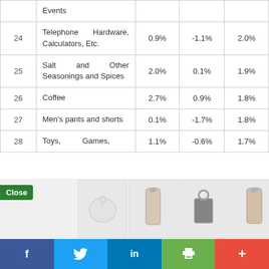| # | Category | Col3 | Col4 | Col5 |
| --- | --- | --- | --- | --- |
|  | Events |  |  |  |
| 24 | Telephone Hardware, Calculators, Etc. | 0.9% | -1.1% | 2.0% |
| 25 | Salt and Other Seasonings and Spices | 2.0% | 0.1% | 1.9% |
| 26 | Coffee | 2.7% | 0.9% | 1.8% |
| 27 | Men's pants and shorts | 0.1% | -1.7% | 1.8% |
| 28 | Toys, Games, | 1.1% | -0.6% | 1.7% |
[Figure (screenshot): Advertisement overlay with product thumbnails (bags, key fobs) and social sharing bar with Facebook, Twitter, LinkedIn, print, and more buttons. Close button visible.]